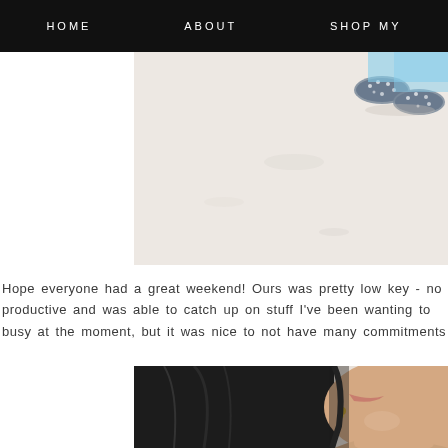HOME   ABOUT   SHOP MY
[Figure (photo): Overhead view of a light pink/beige concrete floor with a person's feet wearing sparkly/embellished flat shoes visible in the upper right corner]
Hope everyone had a great weekend! Ours was pretty low key - no productive and was able to catch up on stuff I've been wanting to busy at the moment, but it was nice to not have many commitments
[Figure (photo): Close-up portrait of a woman with dark hair, showing her face from chin to top of head, wearing an earring]